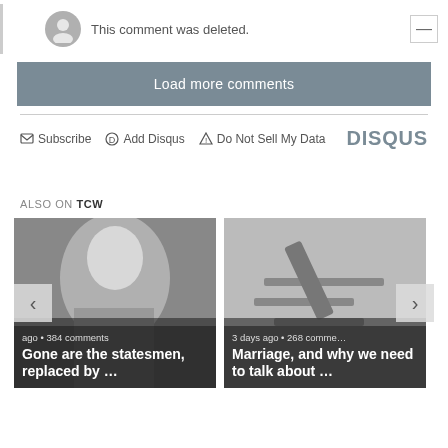This comment was deleted.
Load more comments
Subscribe   Add Disqus   Do Not Sell My Data   DISQUS
ALSO ON TCW
[Figure (photo): Black and white photo of Boris Johnson with overlay text: ago • 384 comments / Gone are the statesmen, replaced by ...]
[Figure (photo): Black and white photo of someone writing with overlay text: 3 days ago • 268 comments / Marriage, and why we need to talk about ...]